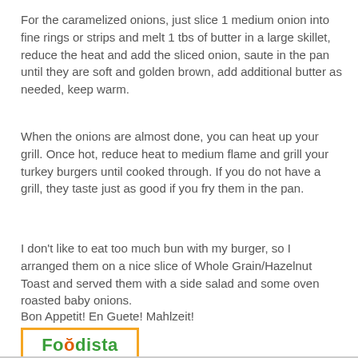For the caramelized onions, just slice 1 medium onion into fine rings or strips and melt 1 tbs of butter in a large skillet, reduce the heat and add the sliced onion, saute in the pan until they are soft and golden brown, add additional butter as needed, keep warm.
When the onions are almost done, you can heat up your grill. Once hot, reduce heat to medium flame and grill your turkey burgers until cooked through. If you do not have a grill, they taste just as good if you fry them in the pan.
I don't like to eat too much bun with my burger, so I arranged them on a nice slice of Whole Grain/Hazelnut Toast and served them with a side salad and some oven roasted baby onions.
Bon Appetit! En Guete! Mahlzeit!
[Figure (logo): Foodista logo: green bold text 'Foodista' with orange double-o, inside an orange rectangular border]